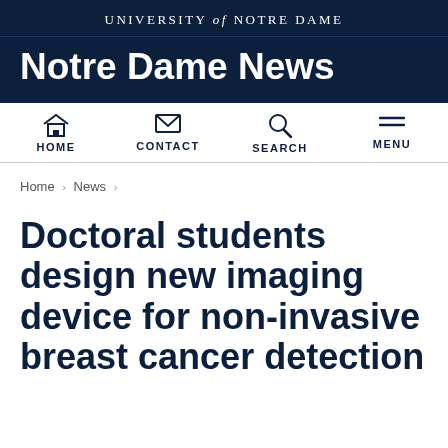UNIVERSITY of NOTRE DAME
Notre Dame News
[Figure (other): Navigation bar with HOME, CONTACT, SEARCH, MENU icons]
Home › News ›
Doctoral students design new imaging device for non-invasive breast cancer detection